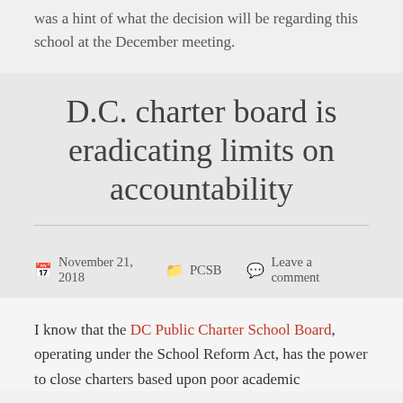was a hint of what the decision will be regarding this school at the December meeting.
D.C. charter board is eradicating limits on accountability
November 21, 2018   PCSB   Leave a comment
I know that the DC Public Charter School Board, operating under the School Reform Act, has the power to close charters based upon poor academic